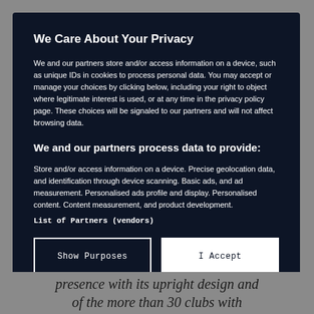We Care About Your Privacy
We and our partners store and/or access information on a device, such as unique IDs in cookies to process personal data. You may accept or manage your choices by clicking below, including your right to object where legitimate interest is used, or at any time in the privacy policy page. These choices will be signaled to our partners and will not affect browsing data.
We and our partners process data to provide:
Store and/or access information on a device. Precise geolocation data, and identification through device scanning. Basic ads, and ad measurement. Personalised ads profile and display. Personalised content. Content measurement, and product development.
List of Partners (vendors)
presence with its upright design and
of the more than 30 clubs with